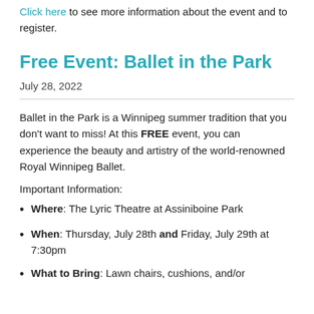Click here to see more information about the event and to register.
Free Event: Ballet in the Park
July 28, 2022
Ballet in the Park is a Winnipeg summer tradition that you don't want to miss! At this FREE event, you can experience the beauty and artistry of the world-renowned Royal Winnipeg Ballet.
Important Information:
Where: The Lyric Theatre at Assiniboine Park
When: Thursday, July 28th and Friday, July 29th at 7:30pm
What to Bring: Lawn chairs, cushions, and/or